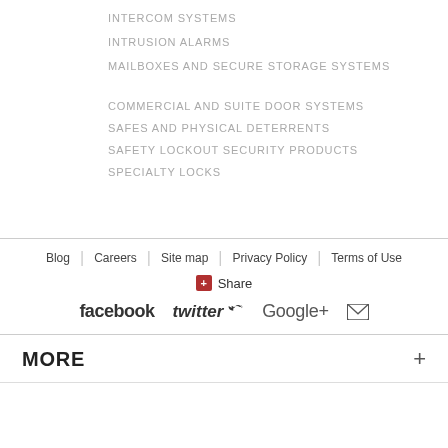INTERCOM SYSTEMS
INTRUSION ALARMS
MAILBOXES AND SECURE STORAGE SYSTEMS
COMMERCIAL AND SUITE DOOR SYSTEMS
SAFES AND PHYSICAL DETERRENTS
SAFETY LOCKOUT SECURITY PRODUCTS
SPECIALTY LOCKS
Blog   Careers   Site map   Privacy Policy   Terms of Use
+ Share
facebook  twitter  Google+  [email]
MORE +